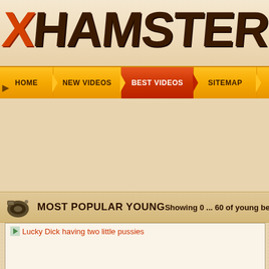[Figure (logo): xHamster-Best.com logo with orange X and BEST, dark brown HAMSTER text, hand-drawn style on cream background]
HOME | NEW VIDEOS | BEST VIDEOS | SITEMAP
MOST POPULAR YOUNG    Showing 0 ... 60 of young bes
Lucky Dick having two little pussies